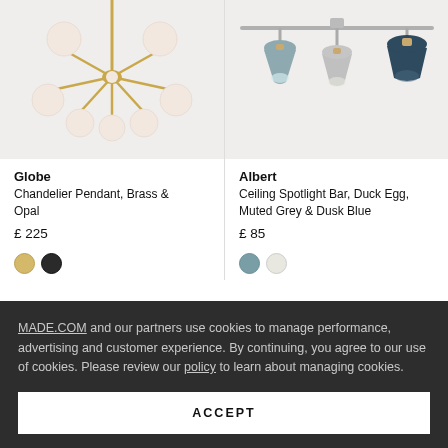[Figure (photo): Globe Chandelier Pendant in Brass and Opal with multiple opal glass globe bulbs]
[Figure (photo): Albert Ceiling Spotlight Bar in Duck Egg, Muted Grey and Dusk Blue with three adjustable spotlight heads]
Globe
Chandelier Pendant, Brass & Opal
£ 225
Albert
Ceiling Spotlight Bar, Duck Egg, Muted Grey & Dusk Blue
£ 85
MADE.COM and our partners use cookies to manage performance, advertising and customer experience. By continuing, you agree to our use of cookies. Please review our policy to learn about managing cookies.
ACCEPT